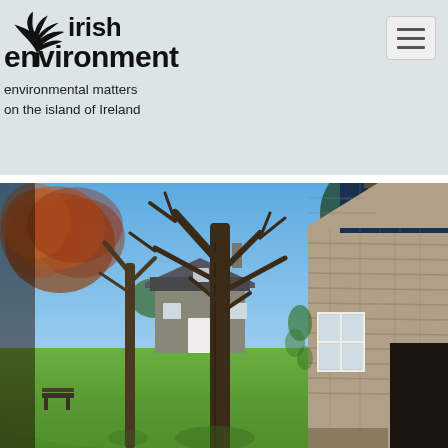irish environment — environmental matters on the island of Ireland
[Figure (photo): Exterior photograph of a traditional Irish stone cottage with slate roof and solar panels, surrounded by trees and green lawn on a sunny day]